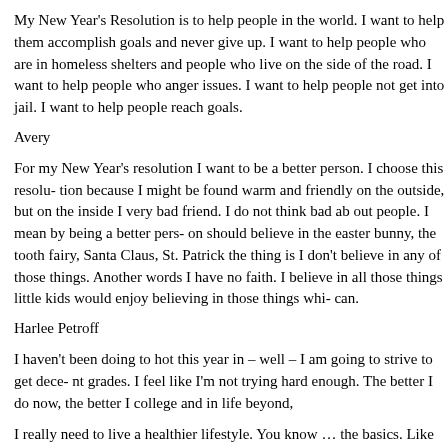My New Year's Resolution is to help people in the world. I want to help them accomplish goals and never give up. I want to help people who are in homeless shelters and people who live on the side of the road. I want to help people who anger issues. I want to help people not get into jail. I want to help people reach goals.
Avery
For my New Year's resolution I want to be a better person. I choose this resolution because I might be found warm and friendly on the outside, but on the inside I very bad friend. I do not think bad ab out people. I mean by being a better person should believe in the easter bunny, the tooth fairy, Santa Claus, St. Patrick the thing is I don't believe in any of those things. Another words I have no faith. I believe in all those things little kids would enjoy believing in those things whi can.
Harlee Petroff
I haven't been doing to hot this year in – well – I am going to strive to get decent grades. I feel like I'm not trying hard enough. The better I do now, the better I college and in life beyond,
I really need to live a healthier lifestyle. You know … the basics. Like drinking water and eating more nutricious food. The healthier I am now, the more things be able and elligable to do later on. The future matters!